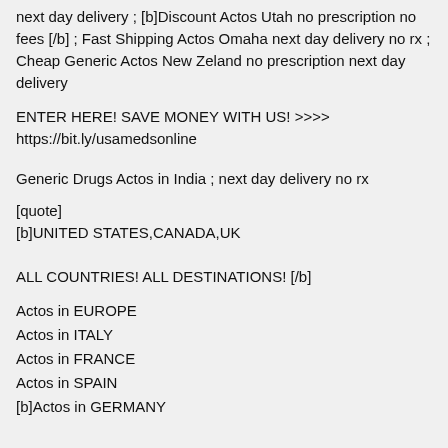next day delivery ; [b]Discount Actos Utah no prescription no fees [/b] ; Fast Shipping Actos Omaha next day delivery no rx ; Cheap Generic Actos New Zeland no prescription next day delivery
ENTER HERE! SAVE MONEY WITH US! >>>> https://bit.ly/usamedsonline
Generic Drugs Actos in India ; next day delivery no rx
[quote]
[b]UNITED STATES,CANADA,UK

ALL COUNTRIES! ALL DESTINATIONS! [/b]
Actos in EUROPE
Actos in ITALY
Actos in FRANCE
Actos in SPAIN
[b]Actos in GERMANY